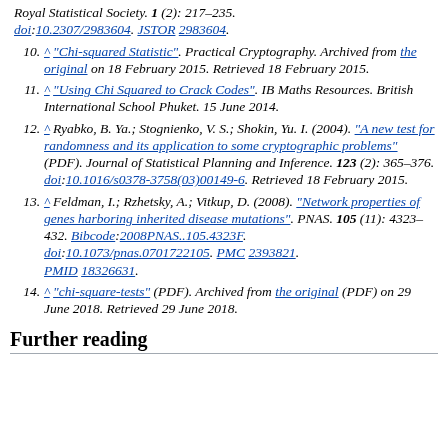(continuation) Royal Statistical Society. 1 (2): 217–235. doi:10.2307/2983604. JSTOR 2983604.
10. ^ "Chi-squared Statistic". Practical Cryptography. Archived from the original on 18 February 2015. Retrieved 18 February 2015.
11. ^ "Using Chi Squared to Crack Codes". IB Maths Resources. British International School Phuket. 15 June 2014.
12. ^ Ryabko, B. Ya.; Stognienko, V. S.; Shokin, Yu. I. (2004). "A new test for randomness and its application to some cryptographic problems" (PDF). Journal of Statistical Planning and Inference. 123 (2): 365–376. doi:10.1016/s0378-3758(03)00149-6. Retrieved 18 February 2015.
13. ^ Feldman, I.; Rzhetsky, A.; Vitkup, D. (2008). "Network properties of genes harboring inherited disease mutations". PNAS. 105 (11): 4323–432. Bibcode:2008PNAS..105.4323F. doi:10.1073/pnas.0701722105. PMC 2393821. PMID 18326631.
14. ^ "chi-square-tests" (PDF). Archived from the original (PDF) on 29 June 2018. Retrieved 29 June 2018.
Further reading